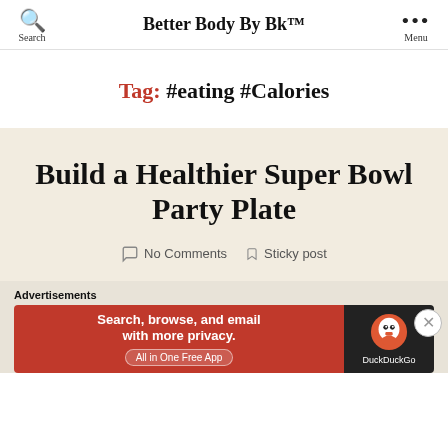Better Body By Bk™
Tag: #eating #Calories
Build a Healthier Super Bowl Party Plate
No Comments   Sticky post
Advertisements
[Figure (screenshot): DuckDuckGo advertisement banner: orange/red left side with text 'Search, browse, and email with more privacy. All in One Free App' and dark right side with DuckDuckGo duck logo and brand name]